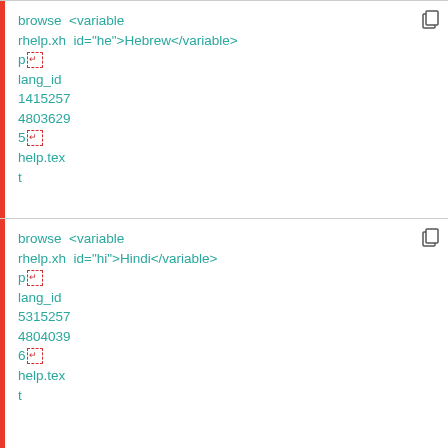browse  <variable
rhelp.xh  id="he">Hebrew</variable>
p[enter]
lang_id
1415257
4803629
5[enter]
help.tex
t
browse  <variable
rhelp.xh  id="hi">Hindi</variable>
p[enter]
lang_id
5315257
4804039
6[enter]
help.tex
t